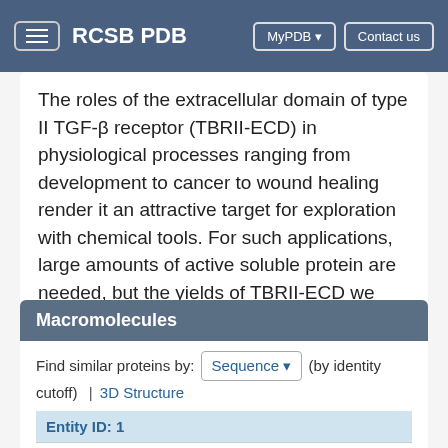RCSB PDB | MyPDB | Contact us
The roles of the extracellular domain of type II TGF-β receptor (TBRII-ECD) in physiological processes ranging from development to cancer to wound healing render it an attractive target for exploration with chemical tools. For such applications, large amounts of active soluble protein are needed, but the yields of TBRII-ECD we obtained with current folding protocols were variable ...
Macromolecules
Find similar proteins by: Sequence ▾ (by identity cutoff)  |  3D Structure
| Molecule | Chains |
| --- | --- |
| Entity ID: 1 (merged) |  |